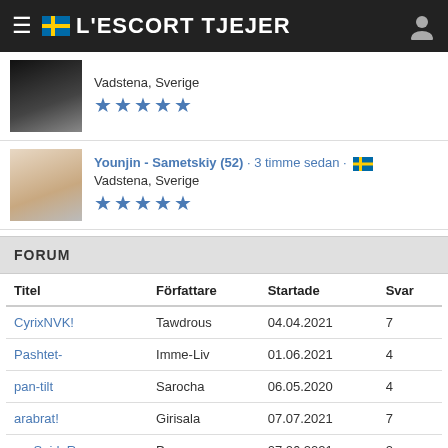L'ESCORT TJEJER
Vadstena, Sverige ★★★★★
Younjin - Sametskiy (52) · 3 timme sedan · 🇸🇪 Vadstena, Sverige ★★★★★
FORUM
| Titel | Författare | Startade | Svar |
| --- | --- | --- | --- |
| CyrixNVK! | Tawdrous | 04.04.2021 | 7 |
| Pashtet- | Imme-Liv | 01.06.2021 | 4 |
| pan-tilt | Sarocha | 06.05.2020 | 4 |
| arabrat! | Girisala | 07.07.2021 | 7 |
| xxxSpideRxxx | Preawa | 07.06.2021 | 2 |